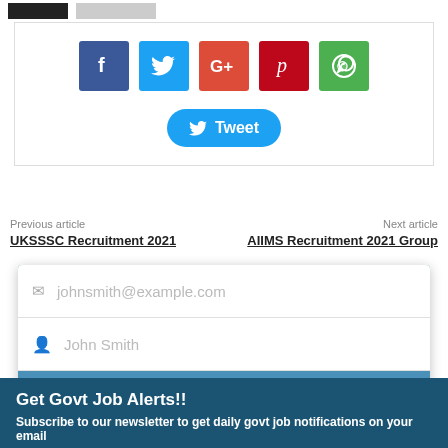[Figure (screenshot): Social media share buttons: Facebook (blue), Twitter (light blue), Google+ (red-orange), Pinterest (dark red), WhatsApp (green), and a Tweet button below.]
Previous article
Next article
UKSSSC Recruitment 2021
AIIMS Recruitment 2021 Group
[Figure (screenshot): Newsletter signup popup form with email field (johnsmith@example.com), name field (John Smith), and a Submit button.]
Get Govt Job Alerts!!
Subscribe to our newsletter to get daily govt job notifications on your email